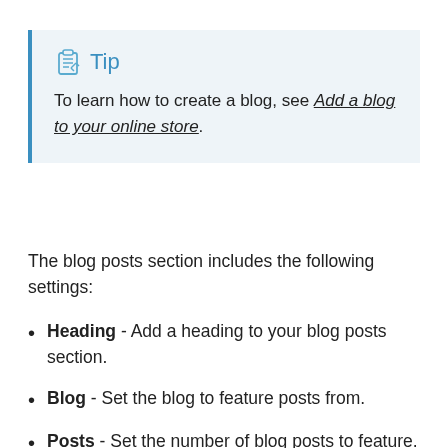Tip — To learn how to create a blog, see Add a blog to your online store.
The blog posts section includes the following settings:
Heading - Add a heading to your blog posts section.
Blog - Set the blog to feature posts from.
Posts - Set the number of blog posts to feature.